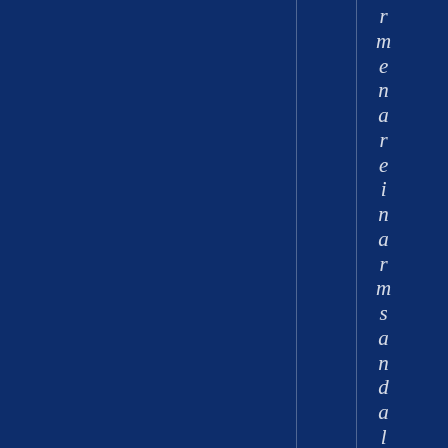[Figure (other): Dark navy blue background page with two faint vertical white lines dividing the page into columns. On the right portion, rotated vertical italic text reading 'r m e n a r e i n a r m s a n d a l l h e r a r s e n a l s' displayed as individual characters stacked vertically, forming part of a larger phrase about armaments.]